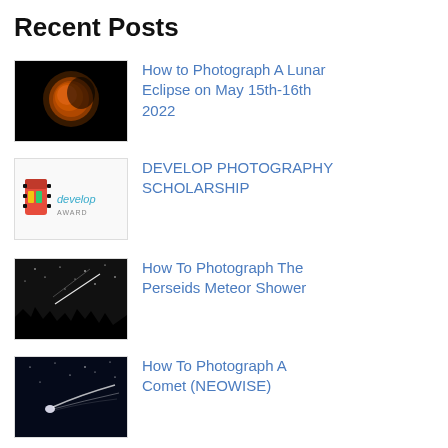Recent Posts
How to Photograph A Lunar Eclipse on May 15th-16th 2022
DEVELOP PHOTOGRAPHY SCHOLARSHIP
How To Photograph The Perseids Meteor Shower
How To Photograph A Comet (NEOWISE)